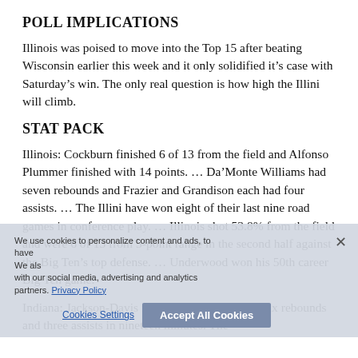POLL IMPLICATIONS
Illinois was poised to move into the Top 15 after beating Wisconsin earlier this week and it only solidified it’s case with Saturday’s win. The only real question is how high the Illini will climb.
STAT PACK
Illinois: Cockburn finished 6 of 13 from the field and Alfonso Plummer finished with 14 points. … Da’Monte Williams had seven rebounds and Frazier and Grandison each had four assists. … The Illini have won eight of their last nine road games in conference play. … Illinois shot 53.8% from the field and were 6 of 13 from 3-point range in the second half against the Big Ten’s top defense. … Underwood won his 50th career Big Ten game.
Indiana: Jackson-Davis finished with six points, six rebounds and three assists in nineteen minutes. The